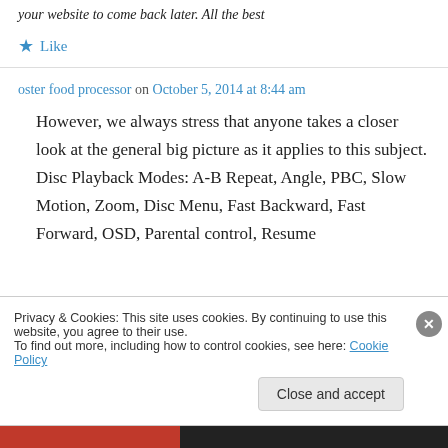your website to come back later. All the best
★ Like
oster food processor on October 5, 2014 at 8:44 am
However, we always stress that anyone takes a closer look at the general big picture as it applies to this subject. Disc Playback Modes: A-B Repeat, Angle, PBC, Slow Motion, Zoom, Disc Menu, Fast Backward, Fast Forward, OSD, Parental control, Resume
Privacy & Cookies: This site uses cookies. By continuing to use this website, you agree to their use. To find out more, including how to control cookies, see here: Cookie Policy
Close and accept